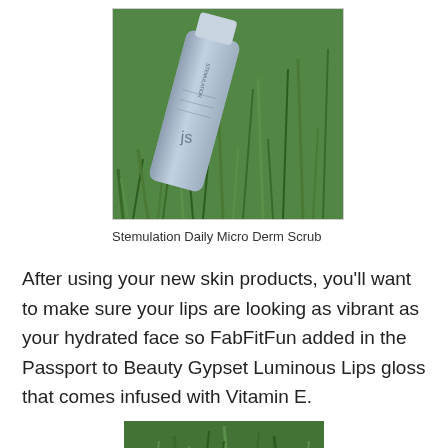[Figure (photo): A blue/silver tube of Stemulation Daily Micro Derm Scrub product lying on green grass outdoors]
Stemulation Daily Micro Derm Scrub
After using your new skin products, you'll want to make sure your lips are looking as vibrant as your hydrated face so FabFitFun added in the Passport to Beauty Gypset Luminous Lips gloss that comes infused with Vitamin E.
[Figure (photo): Partial photo of green grass at bottom of page]